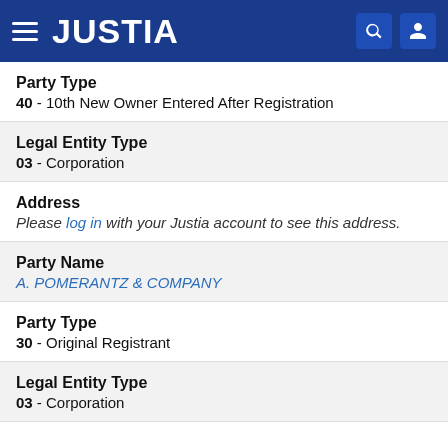JUSTIA
Party Type
40 - 10th New Owner Entered After Registration
Legal Entity Type
03 - Corporation
Address
Please log in with your Justia account to see this address.
Party Name
A. POMERANTZ & COMPANY
Party Type
30 - Original Registrant
Legal Entity Type
03 - Corporation